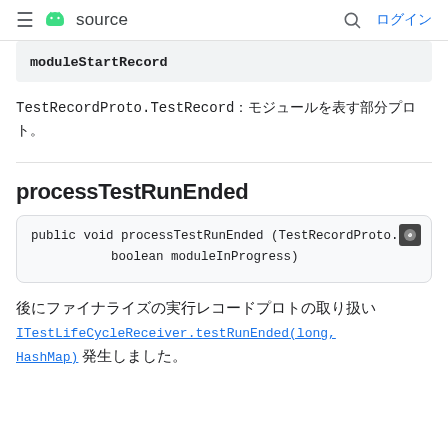≡ [android logo] source [search icon] ログイン
moduleStartRecord
TestRecordProto.TestRecord：モジュールを表す部分プロト。
processTestRunEnded
public void processTestRunEnded (TestRecordProto.
    boolean moduleInProgress)
後にファイナライズの実行レコードプロトの取り扱い ITestLifeCycleReceiver.testRunEnded(long, HashMap) 発生しました。